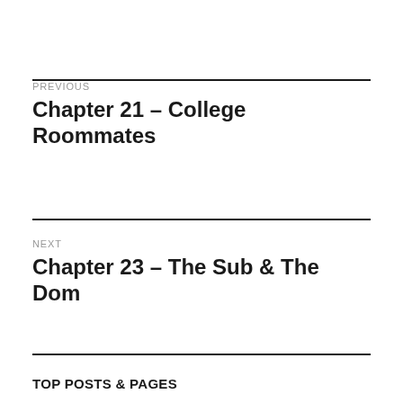PREVIOUS
Chapter 21 – College Roommates
NEXT
Chapter 23 – The Sub & The Dom
TOP POSTS & PAGES